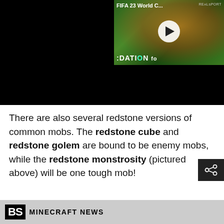[Figure (screenshot): A video player thumbnail showing a FIFA 23 World Cup video from RealSport, with a play button overlay, a golden soccer ball card graphic, and a green stadium background. Title reads 'FIFA 23 World C...' with 'REALSPORT' branding. Bottom of video area shows dark/black background.]
There are also several redstone versions of common mobs. The redstone cube and redstone golem are bound to be enemy mobs, while the redstone monstrosity (pictured above) will be one tough mob!
[Figure (screenshot): Bottom banner showing 'BS MINECRAFT NEWS' logo/text strip, partially visible at bottom of page.]